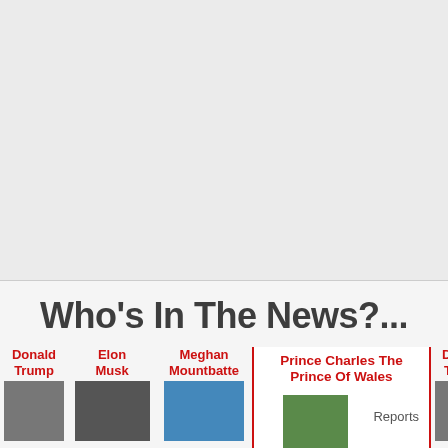[Figure (other): Large grey/blank upper area placeholder]
Who's In The News?...
Donald Trump
Elon Musk
Meghan Mountbatten
Prince Charles The Prince Of Wales | Reports
Donald Trump